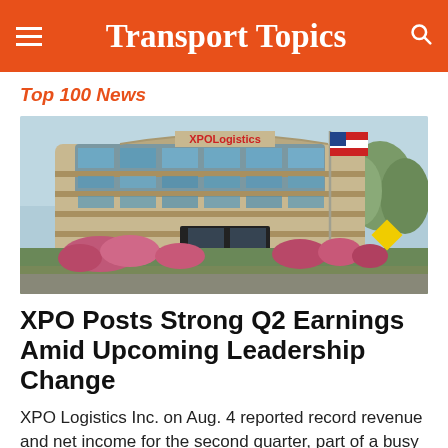Transport Topics
Top 100 News
[Figure (photo): Exterior photo of XPO Logistics office building — a multi-story brick and glass corporate building with an American flag on a tall flagpole, landscaped with flowering shrubs in the foreground.]
XPO Posts Strong Q2 Earnings Amid Upcoming Leadership Change
XPO Logistics Inc. on Aug. 4 reported record revenue and net income for the second quarter, part of a busy week for the